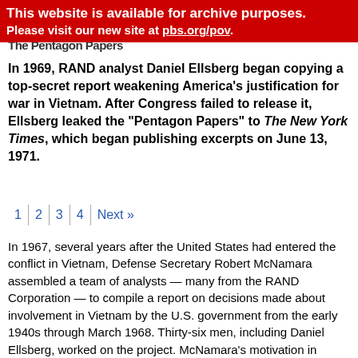This website is available for archive purposes. Please visit our new site at pbs.org/pov.
The Pentagon Papers
In 1969, RAND analyst Daniel Ellsberg began copying a top-secret report weakening America's justification for war in Vietnam. After Congress failed to release it, Ellsberg leaked the "Pentagon Papers" to The New York Times, which began publishing excerpts on June 13, 1971.
1 | 2 | 3 | 4 | Next »
In 1967, several years after the United States had entered the conflict in Vietnam, Defense Secretary Robert McNamara assembled a team of analysts — many from the RAND Corporation — to compile a report on decisions made about involvement in Vietnam by the U.S. government from the early 1940s through March 1968. Thirty-six men, including Daniel Ellsberg, worked on the project. McNamara's motivation in commissioning this project remains a subject of controversy. He insisted that he authorized the study to preserve for scholars the government documents that chronicled key decisions